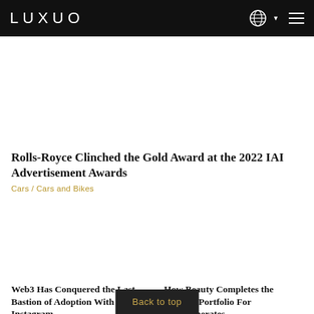LUXUO
[Figure (photo): Image placeholder for Rolls-Royce article]
Rolls-Royce Clinched the Gold Award at the 2022 IAI Advertisement Awards
Cars / Cars and Bikes
[Figure (photo): Image placeholder for Web3 article]
Web3 Has Conquered the Last Bastion of Adoption With Instagram
Business
[Figure (photo): Image placeholder for Beauty article]
How Beauty Completes the Fashion Portfolio For Conglomerates
Style / Beauty & Wellness
Back to top